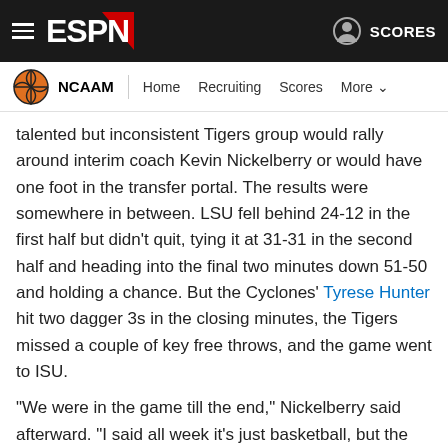ESPN – NCAAM navigation bar
talented but inconsistent Tigers group would rally around interim coach Kevin Nickelberry or would have one foot in the transfer portal. The results were somewhere in between. LSU fell behind 24-12 in the first half but didn't quit, tying it at 31-31 in the second half and heading into the final two minutes down 51-50 and holding a chance. But the Cyclones' Tyrese Hunter hit two dagger 3s in the closing minutes, the Tigers missed a couple of key free throws, and the game went to ISU.
"We were in the game till the end," Nickelberry said afterward. "I said all week it's just basketball, but the distractions were a lot and these guys still fought through those distractions, went out and gave LSU a chance to win tonight."
51. Seton Hall Pirates (No. 8 seed, South)